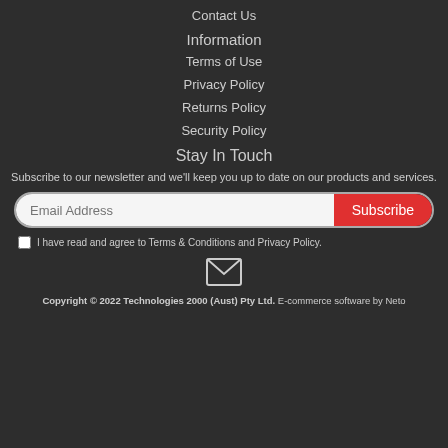Contact Us
Information
Terms of Use
Privacy Policy
Returns Policy
Security Policy
Stay In Touch
Subscribe to our newsletter and we'll keep you up to date on our products and services.
Email Address [input field] Subscribe [button]
I have read and agree to Terms & Conditions and Privacy Policy.
[Figure (illustration): Email/envelope icon]
Copyright © 2022 Technologies 2000 (Aust) Pty Ltd. E-commerce software by Neto